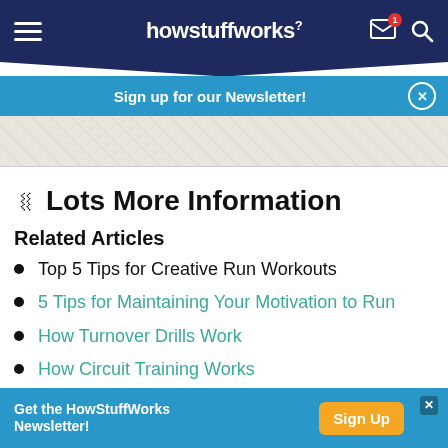howstuffworks
Sign up for our Newsletter!
[Figure (map): Partial map image, greyed out background]
Lots More Information
Related Articles
Top 5 Tips for Creative Run Workouts
5 Tips for Maintaining Your Motivation to Run
How Turnover Drills Work
How Circuit Training Works
Get the HowStuffWorks Newsletter! Sign Up